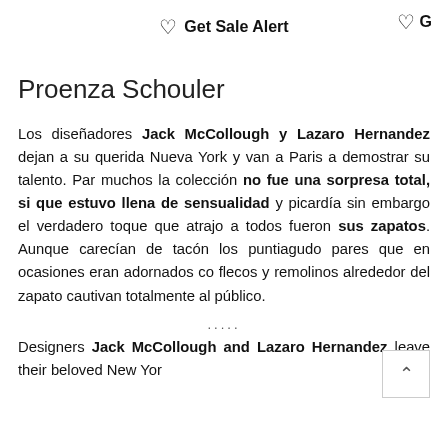♡ Get Sale Alert  ♡ G
Proenza Schouler
Los diseñadores Jack McCollough y Lazaro Hernandez dejan a su querida Nueva York y van a Paris a demostrar su talento. Para muchos la colección no fue una sorpresa total, si que estuvo llena de sensualidad y picardía sin embargo el verdadero toque que atrajo a todos fueron sus zapatos. Aunque carecían de tacón los puntiagudos pares que en ocasiones eran adornados con flecos y remolinos alrededor del zapato cautivan totalmente al público.
Designers Jack McCollough and Lazaro Hernandez leave their beloved New Yor...